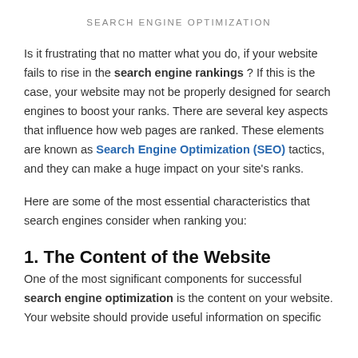SEARCH ENGINE OPTIMIZATION
Is it frustrating that no matter what you do, if your website fails to rise in the search engine rankings ? If this is the case, your website may not be properly designed for search engines to boost your ranks. There are several key aspects that influence how web pages are ranked. These elements are known as Search Engine Optimization (SEO) tactics, and they can make a huge impact on your site's ranks.
Here are some of the most essential characteristics that search engines consider when ranking you:
1. The Content of the Website
One of the most significant components for successful search engine optimization is the content on your website. Your website should provide useful information on specific